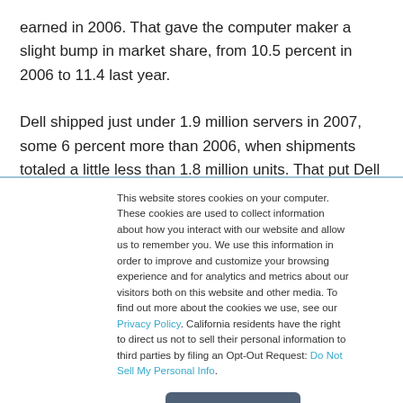earned in 2006. That gave the computer maker a slight bump in market share, from 10.5 percent in 2006 to 11.4 last year.

Dell shipped just under 1.9 million servers in 2007, some 6 percent more than 2006, when shipments totaled a little less than 1.8 million units. That put Dell in the No. 2 spot for server shipments, behind HP, with a 21.4 percent share of the market.
This website stores cookies on your computer. These cookies are used to collect information about how you interact with our website and allow us to remember you. We use this information in order to improve and customize your browsing experience and for analytics and metrics about our visitors both on this website and other media. To find out more about the cookies we use, see our Privacy Policy. California residents have the right to direct us not to sell their personal information to third parties by filing an Opt-Out Request: Do Not Sell My Personal Info.
Accept